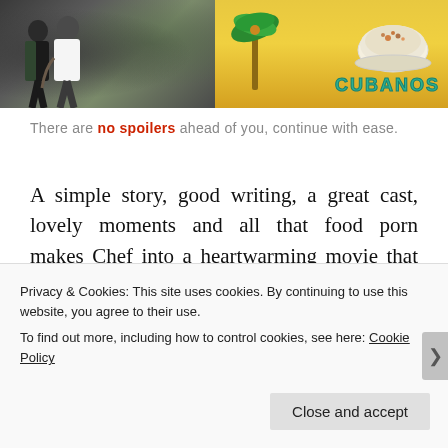[Figure (photo): Two chefs in black aprons on the left side, and a colorful mural with 'CUBANOS' text and food imagery on the right side]
There are no spoilers ahead of you, continue with ease.
A simple story, good writing, a great cast, lovely moments and all that food porn makes Chef into a heartwarming movie that nobody saw coming. I mean, I sure didn't see it coming, I didn't even think I
Privacy & Cookies: This site uses cookies. By continuing to use this website, you agree to their use.
To find out more, including how to control cookies, see here: Cookie Policy